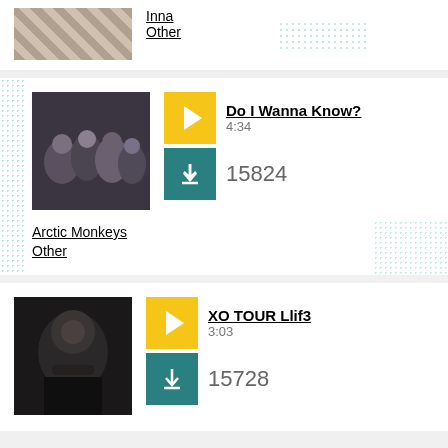[Figure (photo): Partial top of artist photo (Inna) with striped pattern visible]
Inna
Other
[Figure (photo): Photo of Arctic Monkeys band members standing together]
Do I Wanna Know?
4:34
15824
Arctic Monkeys
Other
[Figure (photo): Photo of Lil Uzi Vert with dreads]
XO TOUR Llif3
3:03
15728